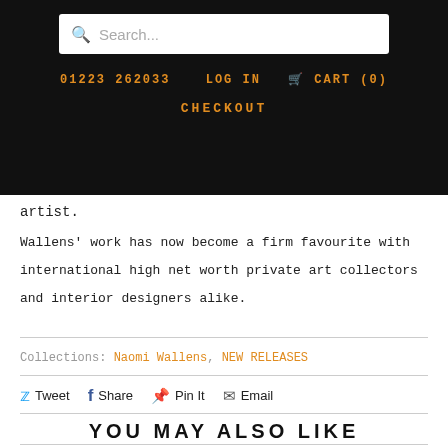Search... | 01223 262033 | LOG IN | CART (0) | CHECKOUT
artist.
Wallens' work has now become a firm favourite with international high net worth private art collectors and interior designers alike.
Collections: Naomi Wallens, NEW RELEASES
Tweet  Share  Pin It  Email
YOU MAY ALSO LIKE